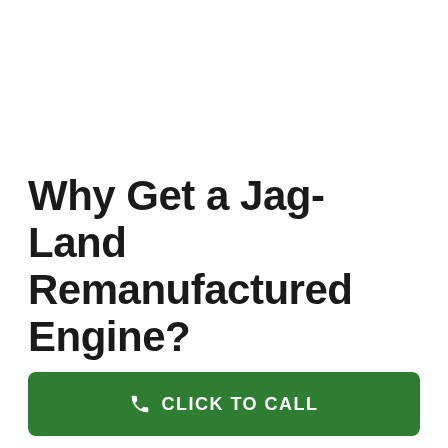Why Get a Jag-Land Remanufactured Engine?
CLICK TO CALL